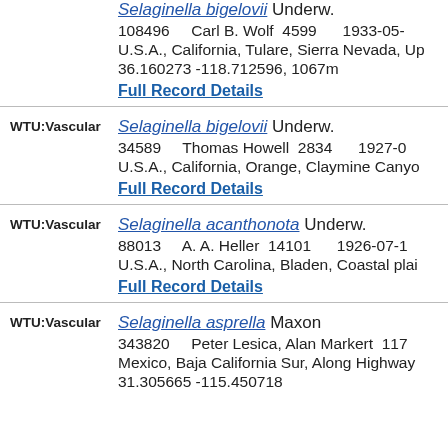Selaginella bigelovii Underw. 108496 Carl B. Wolf 4599 1933-05- U.S.A., California, Tulare, Sierra Nevada, Up 36.160273 -118.712596, 1067m Full Record Details
WTU:Vascular Selaginella bigelovii Underw. 34589 Thomas Howell 2834 1927-0 U.S.A., California, Orange, Claymine Canyo Full Record Details
WTU:Vascular Selaginella acanthonota Underw. 88013 A. A. Heller 14101 1926-07-1 U.S.A., North Carolina, Bladen, Coastal plai Full Record Details
WTU:Vascular Selaginella asprella Maxon 343820 Peter Lesica, Alan Markert 117 Mexico, Baja California Sur, Along Highway 31.305665 -115.450718